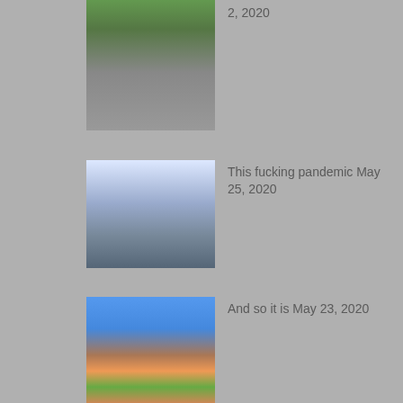[Figure (photo): Photo of a park or plaza area with trees and a building, partially cropped at top]
The moon also rises June 2, 2020
[Figure (photo): Photo of Las Vegas casino resort exterior with fountain and tower]
This fucking pandemic May 25, 2020
[Figure (photo): Photo of a dirt road leading through a canyon with red rocks and blue sky]
And so it is May 23, 2020